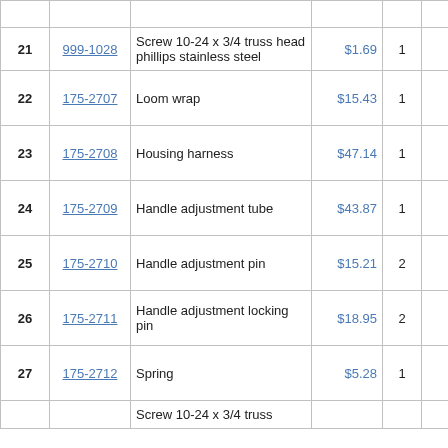| # | Part ID | Description | Price | Qty |  | Availability |
| --- | --- | --- | --- | --- | --- | --- |
|  |  |  |  |  |  | days |
| 21 | 999-1028 | Screw 10-24 x 3/4 truss head phillips stainless steel | $1.69 | 1 |  | ships same |
| 22 | 175-2707 | Loom wrap | $15.43 | 1 |  | usually ships days |
| 23 | 175-2708 | Housing harness | $47.14 | 1 |  | usually ships days |
| 24 | 175-2709 | Handle adjustment tube | $43.87 | 1 |  | usually ships days |
| 25 | 175-2710 | Handle adjustment pin | $15.21 | 2 |  | usually ships days |
| 26 | 175-2711 | Handle adjustment locking pin | $18.95 | 2 |  | usually ships days |
| 27 | 175-2712 | Spring | $5.28 | 1 |  | usually ships days |
|  |  | Screw 10-24 x 3/4 truss |  |  |  | ships |